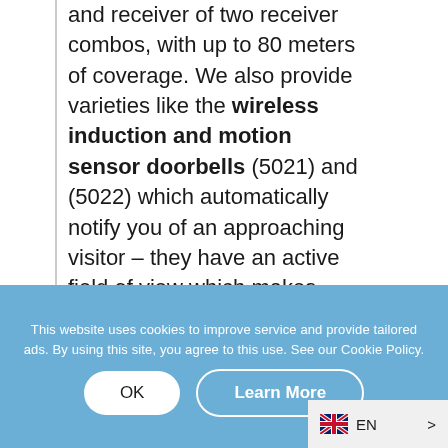and receiver of two receiver combos, with up to 80 meters of coverage. We also provide varieties like the wireless induction and motion sensor doorbells (5021) and (5022) which automatically notify you of an approaching visitor – they have an active field of view which makes them extremely convenient.
This website uses cookies to improve service and provide tailored ads. By using this site, you agree to this use. See our Cookie Policy.
OK
Learn More
EN